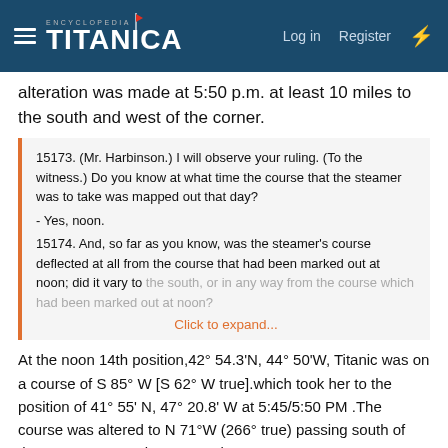Encyclopedia Titanica — Log in | Register
alteration was made at 5:50 p.m. at least 10 miles to the south and west of the corner.
15173. (Mr. Harbinson.) I will observe your ruling. (To the witness.) Do you know at what time the course that the steamer was to take was mapped out that day?
- Yes, noon.
15174. And, so far as you know, was the steamer's course deflected at all from the course that had been marked out at noon; did it vary to the south, or in any way from the course which had been marked out at noon?
Click to expand...
At the noon 14th position,42° 54.3'N, 44° 50'W, Titanic was on a course of S 85° W [S 62° W true].which took her to the position of 41° 55' N, 47° 20.8' W at 5:45/5:50 PM .The course was altered to N 71°W (266° true) passing south of the Customary track to Nantucket LV.
If course of S 85° W [S 62° W true] is run from your noon 14th position of 43° 02' N, 44° 31' W. {126 miles x 060.6° from Corner